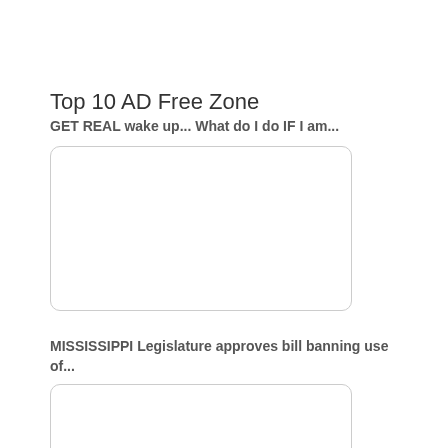Top 10 AD Free Zone
GET REAL wake up... What do I do IF I am...
[Figure (other): Empty white rounded rectangle card placeholder]
MISSISSIPPI Legislature approves bill banning use of...
[Figure (other): Empty white rounded rectangle card placeholder]